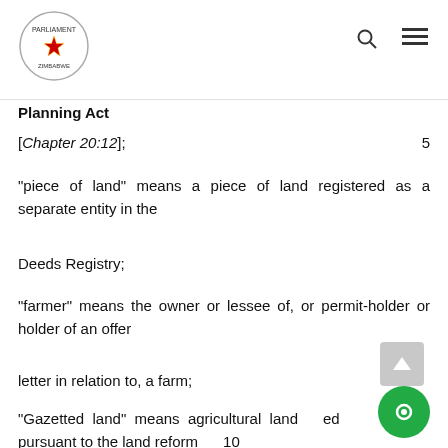Parliament of Zimbabwe logo, search icon, menu icon
Planning Act
[Chapter 20:12];  5
“piece of land” means a piece of land registered as a separate entity in the
Deeds Registry;
“farmer” means the owner or lessee of, or permit-holder or holder of an offer
letter in relation to, a farm;
“Gazetted land” means agricultural land …ed pursuant to the land reform     10